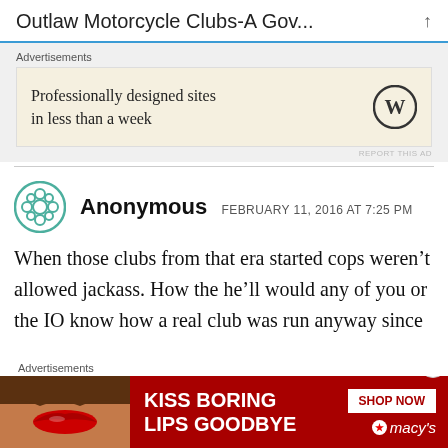Outlaw Motorcycle Clubs-A Gov...
Advertisements
[Figure (other): WordPress advertisement: Professionally designed sites in less than a week, with WordPress logo]
Anonymous   FEBRUARY 11, 2016 AT 7:25 PM
When those clubs from that era started cops weren't allowed jackass. How the he'll would any of you or the IO know how a real club was run anyway since
Advertisements
[Figure (other): Macy's advertisement banner: KISS BORING LIPS GOODBYE with SHOP NOW button and Macy's star logo]